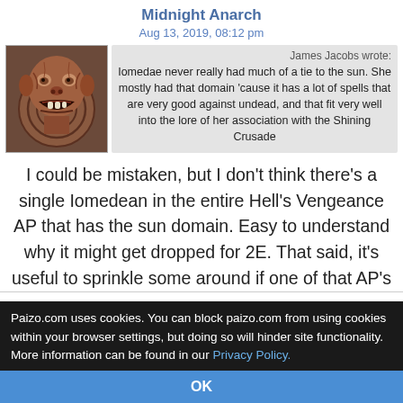Midnight Anarch
Aug 13, 2019, 08:12 pm
[Figure (photo): Avatar image of a monster/orc-like creature with a gaping mouth, red and brown tones]
James Jacobs wrote:
Iomedae never really had much of a tie to the sun. She mostly had that domain 'cause it has a lot of spells that are very good against undead, and that fit very well into the lore of her association with the Shining Crusade
I could be mistaken, but I don't think there's a single Iomedean in the entire Hell's Vengeance AP that has the sun domain. Easy to understand why it might get dropped for 2E. That said, it's useful to sprinkle some around if one of that AP's villain PCs is a necromancer!
OCCULT VS ARCANE MAGIC
Paizo.com uses cookies. You can block paizo.com from using cookies within your browser settings, but doing so will hinder site functionality. More information can be found in our Privacy Policy.
OK